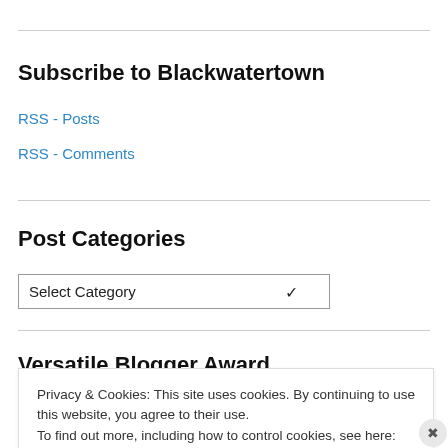Subscribe to Blackwatertown
RSS - Posts
RSS - Comments
Post Categories
Select Category
Versatile Blogger Award
Privacy & Cookies: This site uses cookies. By continuing to use this website, you agree to their use.
To find out more, including how to control cookies, see here: Cookie Policy
Close and accept